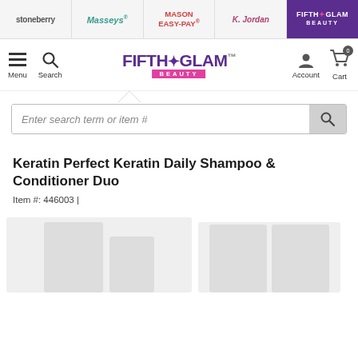stoneberry | Masseys | MASON EASY-PAY | K. Jordan | FIFTH GLAM
[Figure (logo): Fifth & Glam Beauty website header with navigation: Menu, Search, FIFTH & GLAM BEAUTY logo, Account, Cart (0)]
Enter search term or item #
Keratin Perfect Keratin Daily Shampoo & Conditioner Duo
Item #: 446003 |
[Figure (photo): Product images of Keratin Perfect Keratin Daily Shampoo and Conditioner bottles on white/light grey background]